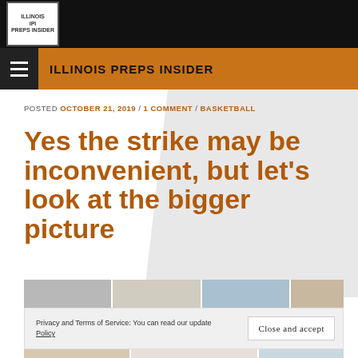[Figure (logo): Illinois Preps Insider logo in white box on black header bar]
ILLINOIS PREPS INSIDER
POSTED OCTOBER 21, 2019 / 1 COMMENT / BASKETBALL
Yes the strike may be inconvenient, but let's look at the bigger picture
[Figure (photo): Photo strip showing protest/strike related images]
Privacy and Terms of Service: You can read our update Policy
[Figure (photo): Bottom photo strip showing protest images]